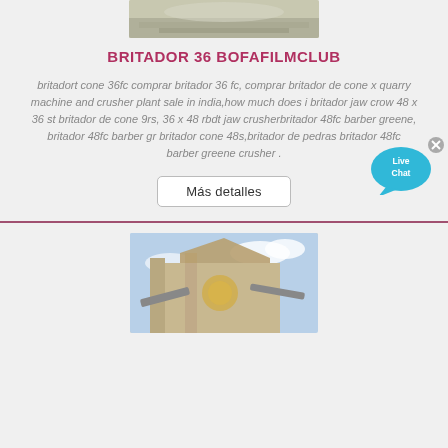[Figure (photo): Quarry/crusher site with sand or gravel pile, partially visible at top]
BRITADOR 36 BOFAFILMCLUB
britadort cone 36fc comprar britador 36 fc, comprar britador de cone x quarry machine and crusher plant sale in india,how much does i britador jaw crow 48 x 36 st britador de cone 9rs, 36 x 48 rbdt jaw crusherbritador 48fc barber greene, britador 48fc barber gr britador cone 48s,britador de pedras britador 48fc barber greene crusher .
[Figure (infographic): Live Chat bubble widget — teal speech bubble with 'Live Chat' text and an X close button]
Más detalles
[Figure (photo): Industrial crusher/quarry machinery plant against a blue sky background, partially visible at bottom of page]